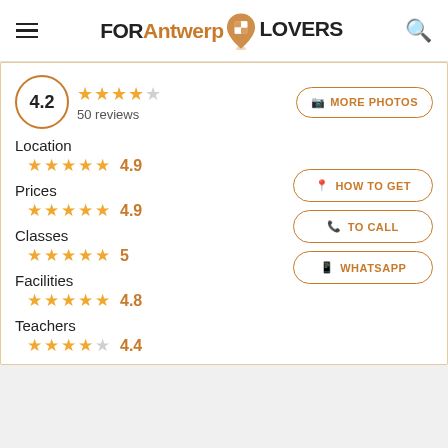FOR Antwerp LOVERS
4.2  ★★★★☆  50 reviews
MORE PHOTOS
Location  ★★★★★  4.9
Prices  ★★★★★  4.9
Classes  ★★★★★  5
Facilities  ★★★★★  4.8
Teachers  ★★★★☆  4.4
HOW TO GET
TO CALL
WHATSAPP